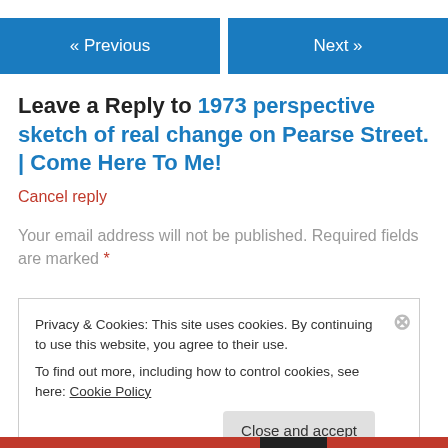« Previous   Next »
Leave a Reply to 1973 perspective sketch of real change on Pearse Street. | Come Here To Me!
Cancel reply
Your email address will not be published. Required fields are marked *
Privacy & Cookies: This site uses cookies. By continuing to use this website, you agree to their use.
To find out more, including how to control cookies, see here: Cookie Policy